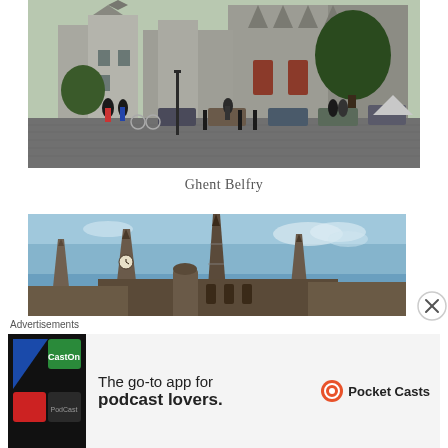[Figure (photo): Street-level photo of Ghent Belfry area — historic stone buildings with Gothic architecture, parked cars, cobblestone square, people and bicycles in foreground, large tree on right]
Ghent Belfry
[Figure (photo): Photo of Gothic church spires against a blue sky — tall ornate stone spires of a cathedral, close-up view from below]
Advertisements
[Figure (advertisement): Pocket Casts advertisement: 'The go-to app for podcast lovers.' with Pocket Casts logo]